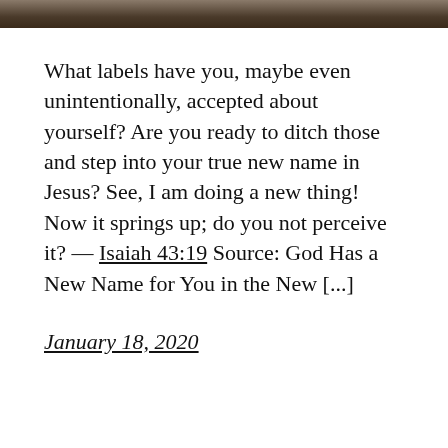[Figure (photo): Partial image strip at the top of the page, showing a cropped brown/dark toned image.]
What labels have you, maybe even unintentionally, accepted about yourself? Are you ready to ditch those and step into your true new name in Jesus? See, I am doing a new thing! Now it springs up; do you not perceive it? — Isaiah 43:19 Source: God Has a New Name for You in the New [...]
January 18, 2020